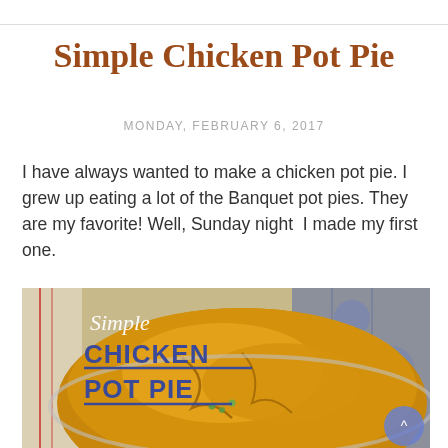Simple Chicken Pot Pie
MONDAY, FEBRUARY 6, 2017
I have always wanted to make a chicken pot pie. I grew up eating a lot of the Banquet pot pies. They are my favorite! Well, Sunday night  I made my first one.
[Figure (photo): A baked golden-brown chicken pot pie in a pie dish on a blue floral tablecloth. Text overlay reads 'Simple CHICKEN POT PIE' in italic and bold blue letters.]